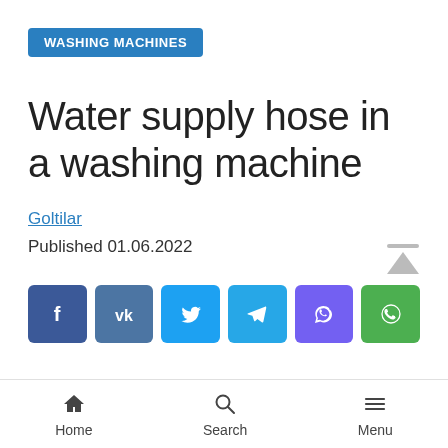WASHING MACHINES
Water supply hose in a washing machine
Goltilar
Published 01.06.2022
[Figure (other): Social share buttons: Facebook, VK, Twitter, Telegram, Viber, WhatsApp]
Home  Search  Menu